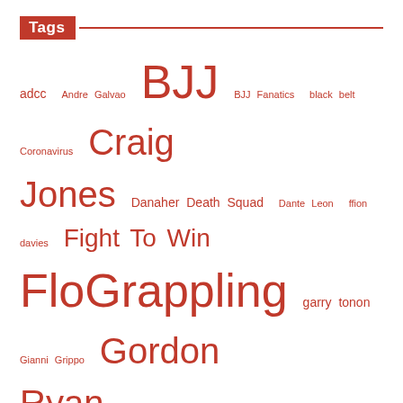Tags
adcc Andre Galvao BJJ BJJ Fanatics black belt Coronavirus Craig Jones Danaher Death Squad Dante Leon ffion davies Fight To Win FloGrappling garry tonon Gianni Grippo Gordon Ryan ibjjf interview john danaher Kade Ruotolo Kaynan Duarte keenan cornelius Lucas "Hulk" Barbosa Mason Fowler Mikey Musumeci MMA nick rodriguez nicky ryan Oliver Taza ONE Championship Pedro Marinho polaris Rafael Lovato Jr Roberto Cyborg Abreu Roberto Jimenez Submission Underground technique third coast grappling Tye Ruotolo UFC UFC Fightpass Victor Hugo video Who's Number One William Tackett WNO